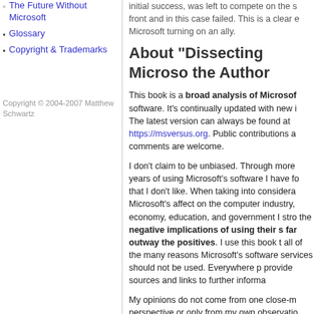The Future Without Microsoft
Glossary
Copyright & Trademarks
Copyright © 2004-2007 Matthew Schwartz
initial success, was left to compete on the front and in this case failed. This is a clear example of Microsoft turning on an ally.
About "Dissecting Microsoft" and the Author
This book is a broad analysis of Microsoft's software. It's continually updated with new information. The latest version can always be found at https://msversus.org. Public contributions and comments are welcome.
I don't claim to be unbiased. Through more years of using Microsoft's software I have found things that I don't like. When taking into consideration Microsoft's affect on the computer industry, economy, education, and government I strongly feel the negative implications of using their software far outway the positives. I use this book to outline all of the many reasons Microsoft's software and services should not be used. Everywhere possible I provide sources and links to further information.
My opinions do not come from one close-minded perspective or only from my own observations. I have done substantial research and have had many conversations before coming to any conclusions. I hope within these pages to provide you with the facts to form your own conclusions.